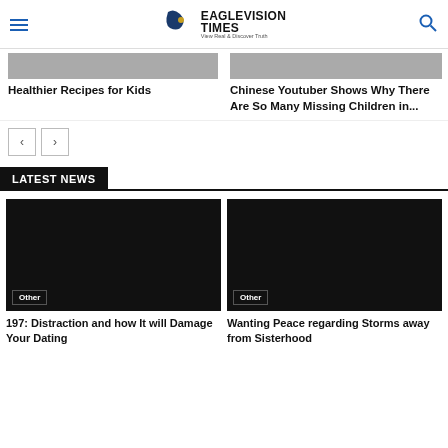EAGLEVISION TIMES View Real & Discover Truth
Healthier Recipes for Kids
Chinese Youtuber Shows Why There Are So Many Missing Children in...
LATEST NEWS
Other
197: Distraction and how It will Damage Your Dating
Other
Wanting Peace regarding Storms away from Sisterhood